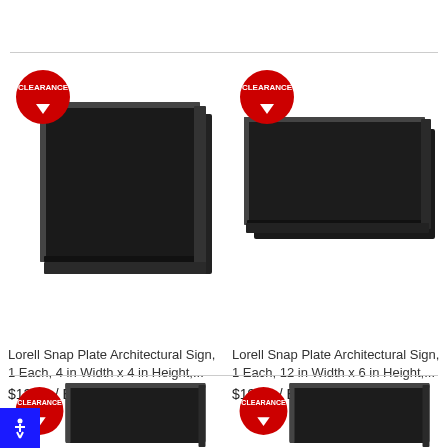[Figure (photo): Lorell Snap Plate Architectural Sign square shape, black, with red CLEARANCE badge overlay]
Lorell Snap Plate Architectural Sign, 1 Each, 4 in Width x 4 in Height,...
$12.29 / Each
[Figure (photo): Lorell Snap Plate Architectural Sign wide/rectangular shape, black, with red CLEARANCE badge overlay]
Lorell Snap Plate Architectural Sign, 1 Each, 12 in Width x 6 in Height,...
$19.79 / Each
[Figure (photo): Partial view of another Lorell Snap Plate Architectural Sign with red CLEARANCE badge, bottom of page]
[Figure (photo): Partial view of another Lorell Snap Plate Architectural Sign with red CLEARANCE badge, bottom of page]